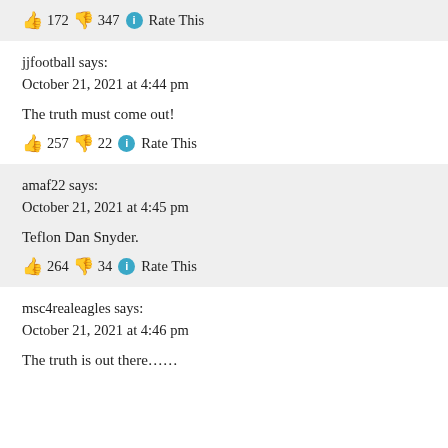👍 172 👎 347 ℹ Rate This
jjfootball says:
October 21, 2021 at 4:44 pm
The truth must come out!
👍 257 👎 22 ℹ Rate This
amaf22 says:
October 21, 2021 at 4:45 pm
Teflon Dan Snyder.
👍 264 👎 34 ℹ Rate This
msc4realeagles says:
October 21, 2021 at 4:46 pm
The truth is out there……